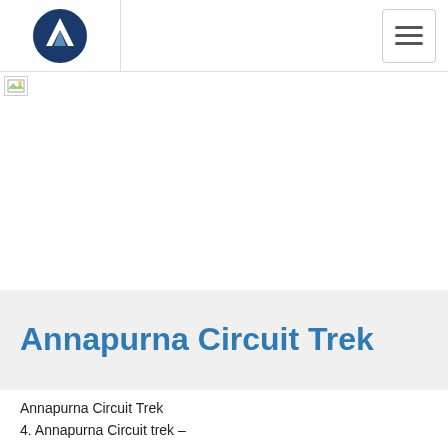Annapurna Circuit Trek - navigation header with logo and hamburger menu
[Figure (photo): Broken/unloaded image placeholder spanning the full width below the header]
Annapurna Circuit Trek
Annapurna Circuit Trek
4. Annapurna Circuit trek –